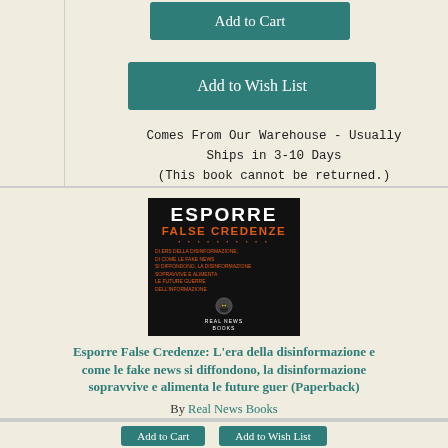Add to Cart
Add to Wish List
Comes From Our Warehouse - Usually Ships in 3-10 Days
(This book cannot be returned.)
[Figure (photo): Book cover: ESPORRE FALSE CREDENZE, black cover with orange/red title text, illustrated figure with glowing eyes, published by Real News Books]
Esporre False Credenze: L’era della disinformazione e come le fake news si diffondono, la disinformazione sopravvive e alimenta le future guer (Paperback)
By Real News Books
$18.99
Add to Cart
Add to Wish List